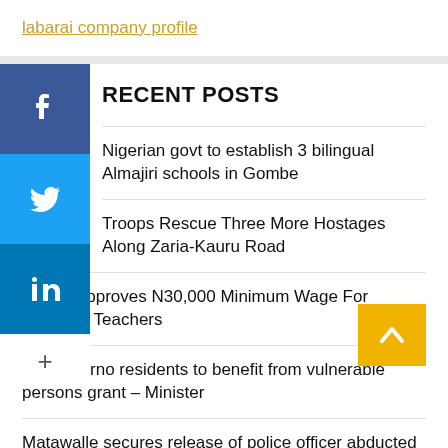labarai company profile
RECENT POSTS
Nigerian govt to establish 3 bilingual Almajiri schools in Gombe
Troops Rescue Three More Hostages Along Zaria-Kauru Road
Forum Approves N30,000 Minimum Wage For Qualified Teachers
7,264 Borno residents to benefit from vulnerable persons grant – Minister
Matawalle secures release of police officer abducted